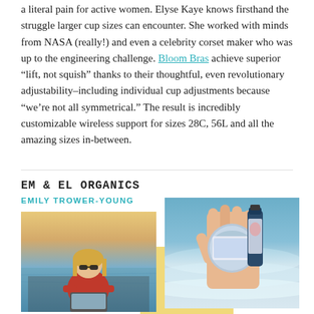a literal pain for active women. Elyse Kaye knows firsthand the struggle larger cup sizes can encounter. She worked with minds from NASA (really!) and even a celebrity corset maker who was up to the engineering challenge. Bloom Bras achieve superior “lift, not squish” thanks to their thoughtful, even revolutionary adjustability–including individual cup adjustments because “we’re not all symmetrical.” The result is incredibly customizable wireless support for sizes 28C, 56L and all the amazing sizes in-between.
Em & El Organics
EMILY TROWER-YOUNG
[Figure (photo): A woman with blonde hair wearing a red sweatshirt and sunglasses, sitting on a sailboat on the water.]
[Figure (photo): A hand holding a small tin and a bottle of Em & El Organics products near a beach with waves in the background.]